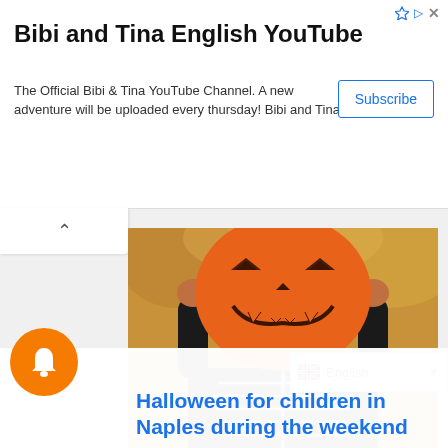Bibi and Tina English YouTube
The Official Bibi & Tina YouTube Channel. A new adventure will be uploaded every thursday! Bibi and Tina
[Figure (photo): Child in skeleton costume holding an orange balloon with jack-o-lantern face painted on it, Halloween themed photo]
Halloween for children in Naples during the weekend